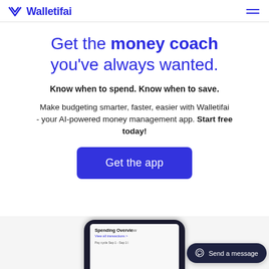Walletifai
Get the money coach you've always wanted.
Know when to spend. Know when to save.
Make budgeting smarter, faster, easier with Walletifai - your AI-powered money management app. Start free today!
[Figure (screenshot): Blue 'Get the app' call-to-action button]
[Figure (screenshot): Bottom of page showing a smartphone mockup with a Spending Overview screen and a Send a message chat bubble overlay]